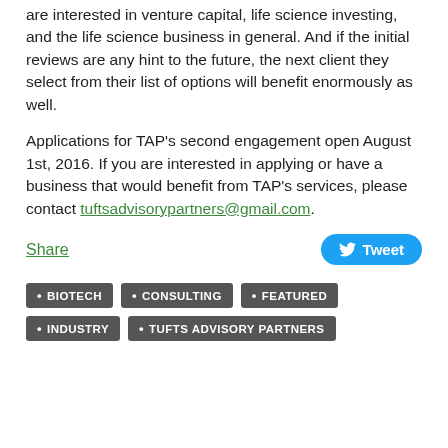are interested in venture capital, life science investing, and the life science business in general. And if the initial reviews are any hint to the future, the next client they select from their list of options will benefit enormously as well.
Applications for TAP's second engagement open August 1st, 2016. If you are interested in applying or have a business that would benefit from TAP's services, please contact tuftsadvisorypartners@gmail.com.
Share
Tweet
BIOTECH   CONSULTING   FEATURED   INDUSTRY   TUFTS ADVISORY PARTNERS